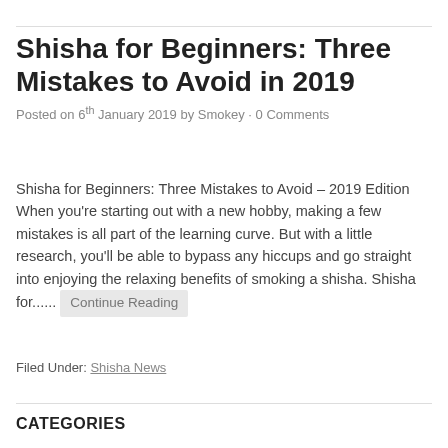Shisha for Beginners: Three Mistakes to Avoid in 2019
Posted on 6th January 2019 by Smokey · 0 Comments
Shisha for Beginners: Three Mistakes to Avoid – 2019 Edition When you're starting out with a new hobby, making a few mistakes is all part of the learning curve. But with a little research, you'll be able to bypass any hiccups and go straight into enjoying the relaxing benefits of smoking a shisha. Shisha for...... Continue Reading
Filed Under: Shisha News
CATEGORIES